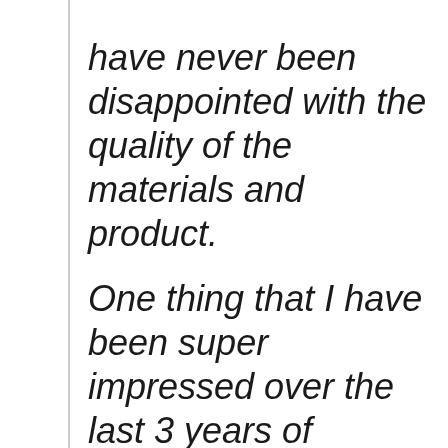have never been disappointed with the quality of the materials and product.

One thing that I have been super impressed over the last 3 years of getting these crates is the unique